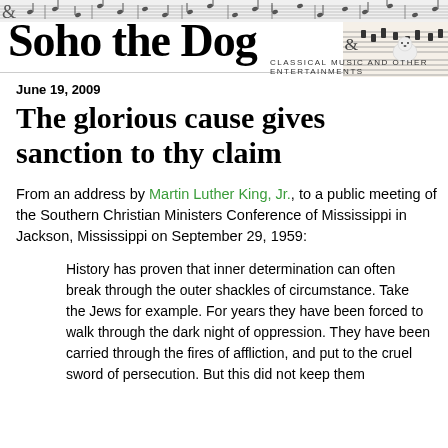Soho the Dog — Classical Music and Other Entertainments
June 19, 2009
The glorious cause gives sanction to thy claim
From an address by Martin Luther King, Jr., to a public meeting of the Southern Christian Ministers Conference of Mississippi in Jackson, Mississippi on September 29, 1959:
History has proven that inner determination can often break through the outer shackles of circumstance. Take the Jews for example. For years they have been forced to walk through the dark night of oppression. They have been carried through the fires of affliction, and put to the cruel sword of persecution. But this did not keep them